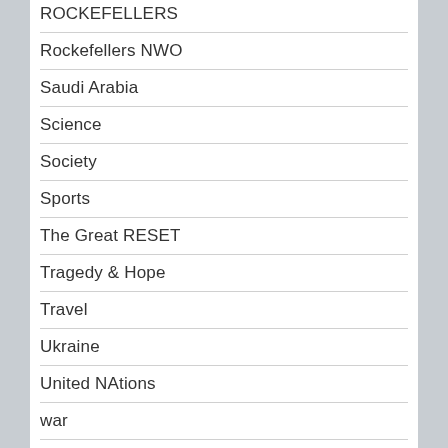ROCKEFELLERS
Rockefellers NWO
Saudi Arabia
Science
Society
Sports
The Great RESET
Tragedy & Hope
Travel
Ukraine
United NAtions
war